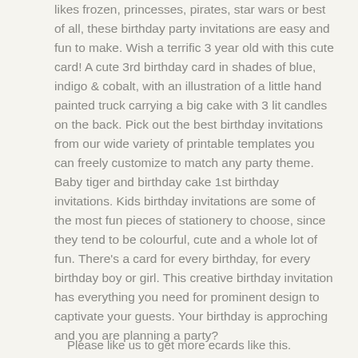likes frozen, princesses, pirates, star wars or best of all, these birthday party invitations are easy and fun to make. Wish a terrific 3 year old with this cute card! A cute 3rd birthday card in shades of blue, indigo & cobalt, with an illustration of a little hand painted truck carrying a big cake with 3 lit candles on the back. Pick out the best birthday invitations from our wide variety of printable templates you can freely customize to match any party theme. Baby tiger and birthday cake 1st birthday invitations. Kids birthday invitations are some of the most fun pieces of stationery to choose, since they tend to be colourful, cute and a whole lot of fun. There's a card for every birthday, for every birthday boy or girl. This creative birthday invitation has everything you need for prominent design to captivate your guests. Your birthday is approching and you are planning a party?
.
Please like us to get more ecards like this.